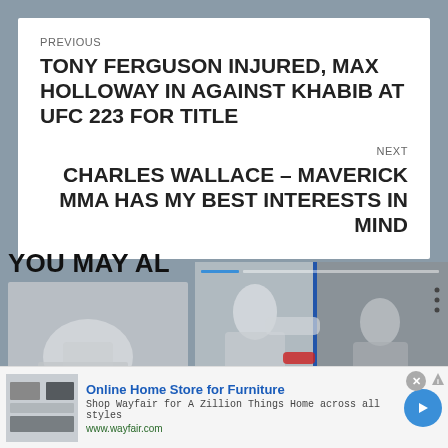PREVIOUS
TONY FERGUSON INJURED, MAX HOLLOWAY IN AGAINST KHABIB AT UFC 223 FOR TITLE
NEXT
CHARLES WALLACE – MAVERICK MMA HAS MY BEST INTERESTS IN MIND
YOU MAY AL…
[Figure (photo): MMA fighter with arm wrapping, MMA NEWS badge overlay]
[Figure (screenshot): Video player showing two fighters training; arrow navigation button; caption reading 'Facebook founder Mark']
Online Home Store for Furniture
Shop Wayfair for A Zillion Things Home across all styles
www.wayfair.com